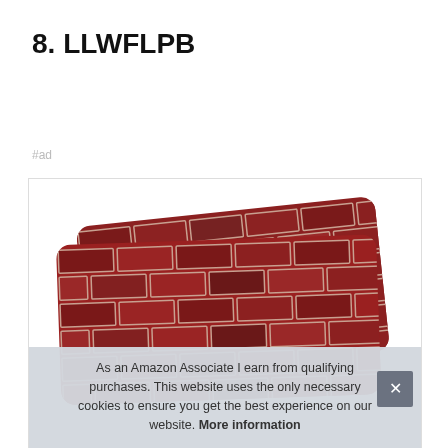8. LLWFLPB
#ad
[Figure (photo): Product photo of a brick-patterned mat or mousepad, shown at an angle, with red brick texture and rounded corners. Partially obscured by cookie consent overlay.]
As an Amazon Associate I earn from qualifying purchases. This website uses the only necessary cookies to ensure you get the best experience on our website. More information